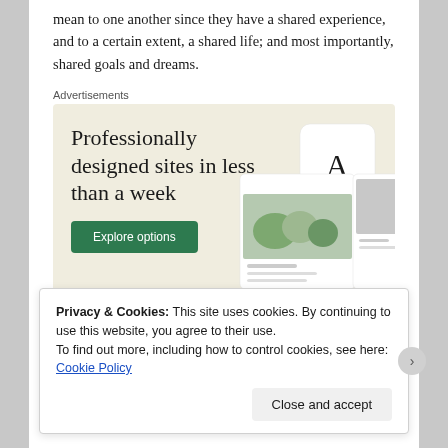mean to one another since they have a shared experience, and to a certain extent, a shared life; and most importantly, shared goals and dreams.
Advertisements
[Figure (infographic): Advertisement banner with beige background. Large serif text reads 'Professionally designed sites in less than a week'. Green button with text 'Explore options'. Right side shows mockup screenshots of websites.]
Privacy & Cookies: This site uses cookies. By continuing to use this website, you agree to their use.
To find out more, including how to control cookies, see here: Cookie Policy
Close and accept